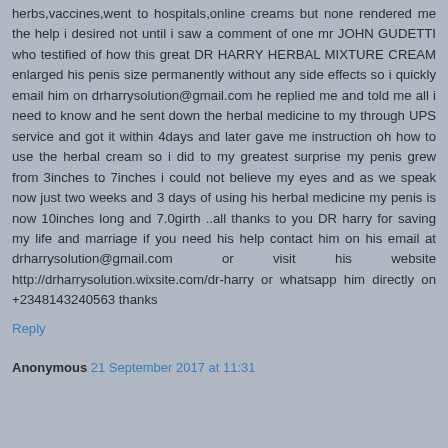herbs,vaccines,went to hospitals,online creams but none rendered me the help i desired not until i saw a comment of one mr JOHN GUDETTI who testified of how this great DR HARRY HERBAL MIXTURE CREAM enlarged his penis size permanently without any side effects so i quickly email him on drharrysolution@gmail.com he replied me and told me all i need to know and he sent down the herbal medicine to my through UPS service and got it within 4days and later gave me instruction oh how to use the herbal cream so i did to my greatest surprise my penis grew from 3inches to 7inches i could not believe my eyes and as we speak now just two weeks and 3 days of using his herbal medicine my penis is now 10inches long and 7.0girth ..all thanks to you DR harry for saving my life and marriage if you need his help contact him on his email at drharrysolution@gmail.com or visit his website http://drharrysolution.wixsite.com/dr-harry or whatsapp him directly on +2348143240563 thanks
Reply
Anonymous 21 September 2017 at 11:31